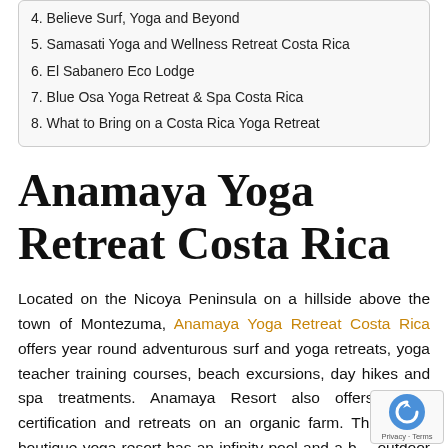4. Believe Surf, Yoga and Beyond
5. Samasati Yoga and Wellness Retreat Costa Rica
6. El Sabanero Eco Lodge
7. Blue Osa Yoga Retreat & Spa Costa Rica
8. What to Bring on a Costa Rica Yoga Retreat
Anamaya Yoga Retreat Costa Rica
Located on the Nicoya Peninsula on a hillside above the town of Montezuma, Anamaya Yoga Retreat Costa Rica offers year round adventurous surf and yoga retreats, yoga teacher training courses, beach excursions, day hikes and spa treatments. Anamaya Resort also offers scuba certification and retreats on an organic farm. This luxury boutique yoga resort has an infinity pool and a beautiful outdoor deck for daily yoga classes. The views of the Pacific coast and the jungle are wonderful and there are